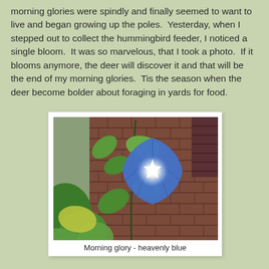morning glories were spindly and finally seemed to want to live and began growing up the poles.  Yesterday, when I stepped out to collect the hummingbird feeder, I noticed a single bloom.  It was so marvelous, that I took a photo.  If it blooms anymore, the deer will discover it and that will be the end of my morning glories.  Tis the season when the deer become bolder about foraging in yards for food.
[Figure (photo): A blue morning glory flower (heavenly blue variety) blooming on a vine with green leaves against a brick wall background, with a bright white light center on the flower.]
Morning glory - heavenly blue